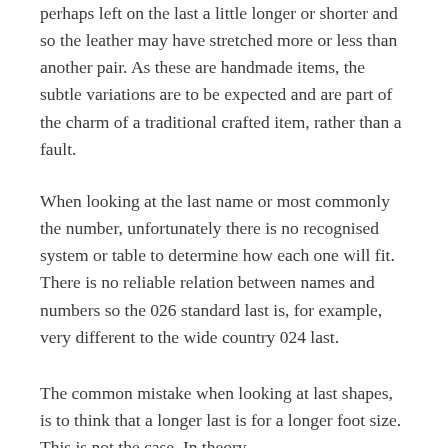perhaps left on the last a little longer or shorter and so the leather may have stretched more or less than another pair. As these are handmade items, the subtle variations are to be expected and are part of the charm of a traditional crafted item, rather than a fault.
When looking at the last name or most commonly the number, unfortunately there is no recognised system or table to determine how each one will fit. There is no reliable relation between names and numbers so the 026 standard last is, for example, very different to the wide country 024 last.
The common mistake when looking at last shapes, is to think that a longer last is for a longer foot size. This is not the case. In theory